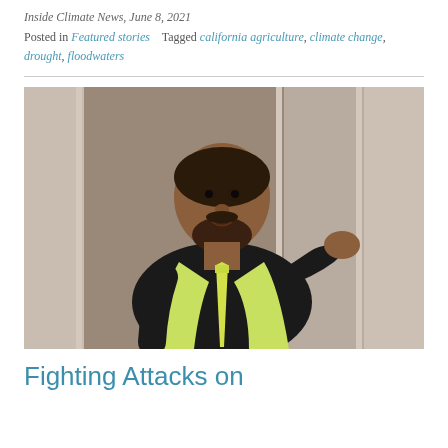Inside Climate News, June 8, 2021
Posted in Featured stories   Tagged california agriculture, climate change, drought, floodwaters
[Figure (photo): A man wearing a black suit, yellow-green tie and matching scarf, gesturing with one hand while speaking. He has a beard and appears to be giving a presentation or speech in front of a blurred background with vertical architectural elements.]
Fighting Attacks on